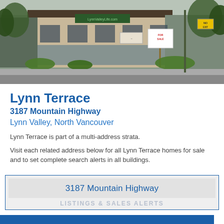[Figure (photo): Street-level photo of Lynn Terrace building at 3187 Mountain Highway, Lynn Valley, North Vancouver. Shows a commercial/residential building with trees, street signs, and a real estate sign.]
Lynn Terrace
3187 Mountain Highway
Lynn Valley, North Vancouver
Lynn Terrace is part of a multi-address strata.
Visit each related address below for all Lynn Terrace homes for sale and to set complete search alerts in all buildings.
3187 Mountain Highway
LISTINGS & SALES ALERTS